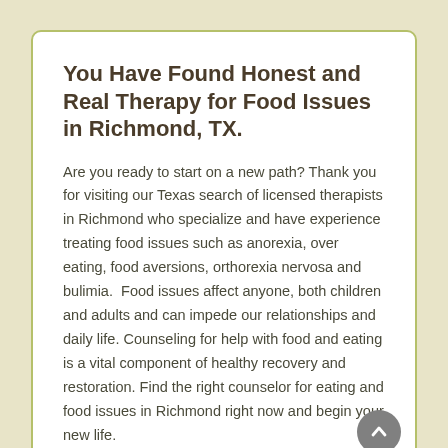You Have Found Honest and Real Therapy for Food Issues in Richmond, TX.
Are you ready to start on a new path? Thank you for visiting our Texas search of licensed therapists in Richmond who specialize and have experience treating food issues such as anorexia, over eating, food aversions, orthorexia nervosa and bulimia.  Food issues affect anyone, both children and adults and can impede our relationships and daily life. Counseling for help with food and eating is a vital component of healthy recovery and restoration. Find the right counselor for eating and food issues in Richmond right now and begin your new life.